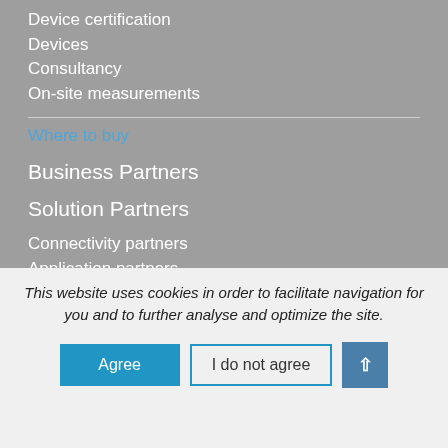Device certification
Devices
Consultancy
On-site measurements
Where to buy
Business Partners
Solution Partners
Connectivity partners
Application partners
This website uses cookies in order to facilitate navigation for you and to further analyse and optimize the site.